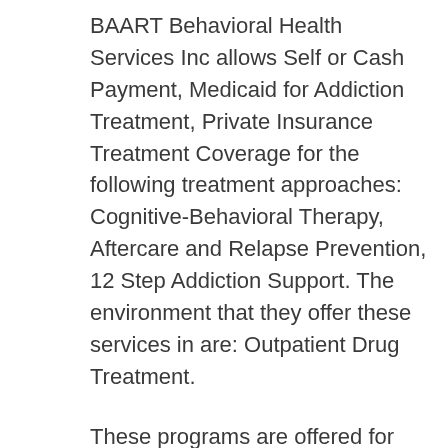BAART Behavioral Health Services Inc allows Self or Cash Payment, Medicaid for Addiction Treatment, Private Insurance Treatment Coverage for the following treatment approaches: Cognitive-Behavioral Therapy, Aftercare and Relapse Prevention, 12 Step Addiction Support. The environment that they offer these services in are: Outpatient Drug Treatment.
These programs are offered for these types of care: Drug and Alcohol Rehab , Detoxification, Substance Use Treatment Services. They also offer various special programs including: Continuing Care Programs, Substance Abuse Testing, Substance Abuse Screening.